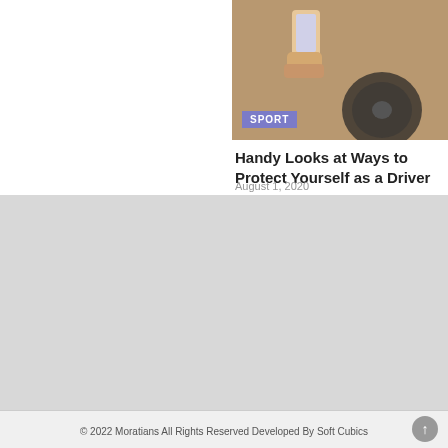[Figure (photo): Photo of person holding a phone while driving a car, with a purple 'SPORT' tag overlay at bottom left]
Handy Looks at Ways to Protect Yourself as a Driver
August 1, 2020
[Figure (logo): Moratians logo in black text with red swoosh/arc accents on grey background]
Home   Privacy Policy   About us   Contact us   DISCLAIMER
© 2022 Moratians All Rights Reserved Developed By Soft Cubics